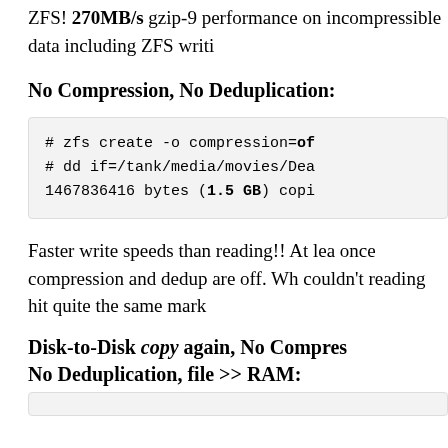ZFS! 270MB/s gzip-9 performance on incompressible data including ZFS writi
No Compression, No Deduplication:
Faster write speeds than reading!! At lea once compression and dedup are off. Wh couldn't reading hit quite the same mark
Disk-to-Disk copy again, No Compres No Deduplication, file >> RAM: